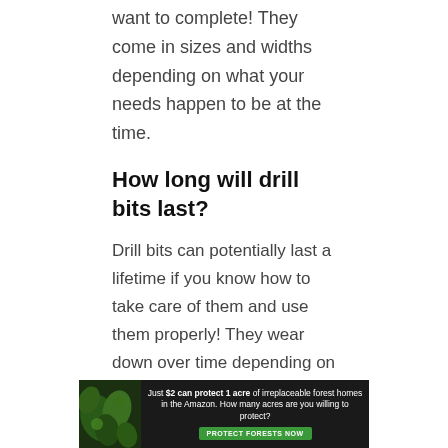want to complete! They come in sizes and widths depending on what your needs happen to be at the time.
How long will drill bits last?
Drill bits can potentially last a lifetime if you know how to take care of them and use them properly! They wear down over time depending on what job they are used for, so make sure that you purchase ones suited for stainless steel or other strong materials.
What is the difference between drill bits and countersinks?
Drill bits are for cutting holes, while a countersink will make them smooth so that you can fit your screws in
[Figure (other): Advertisement banner: Just $2 can protect 1 acre of irreplaceable forest homes in the Amazon. How many acres are you willing to protect? PROTECT FORESTS NOW]